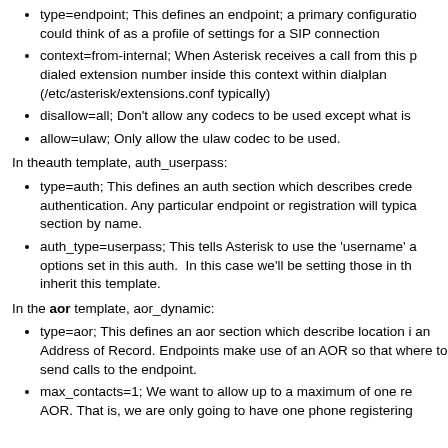type=endpoint; This defines an endpoint; a primary configuration could think of as a profile of settings for a SIP connection
context=from-internal; When Asterisk receives a call from this p... dialed extension number inside this context within dialplan (/etc/asterisk/extensions.conf typically)
disallow=all; Don't allow any codecs to be used except what is
allow=ulaw; Only allow the ulaw codec to be used.
In theauth template, auth_userpass:
type=auth; This defines an auth section which describes credentials for authentication. Any particular endpoint or registration will typically reference this section by name.
auth_type=userpass; This tells Asterisk to use the 'username' and password options set in this auth. In this case we'll be setting those in the endpoints that inherit this template.
In the aor template, aor_dynamic:
type=aor; This defines an aor section which describe location information for an Address of Record. Endpoints make use of an AOR so that Asterisk knows where to send calls to the endpoint.
max_contacts=1; We want to allow up to a maximum of one registration per AOR. That is, we are only going to have one phone registering